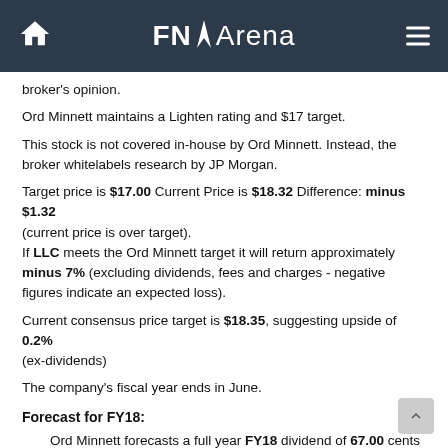FNArena
broker's opinion.
Ord Minnett maintains a Lighten rating and $17 target.
This stock is not covered in-house by Ord Minnett. Instead, the broker whitelabels research by JP Morgan.
Target price is $17.00 Current Price is $18.32 Difference: minus $1.32 (current price is over target). If LLC meets the Ord Minnett target it will return approximately minus 7% (excluding dividends, fees and charges - negative figures indicate an expected loss).
Current consensus price target is $18.35, suggesting upside of 0.2% (ex-dividends)
The company's fiscal year ends in June.
Forecast for FY18:
Ord Minnett forecasts a full year FY18 dividend of 67.00 cents and EPS of 178.00 cents. At the last closing share price the estimated dividend yield is 3.66%. At the last closing share price the stock's estimated Price to